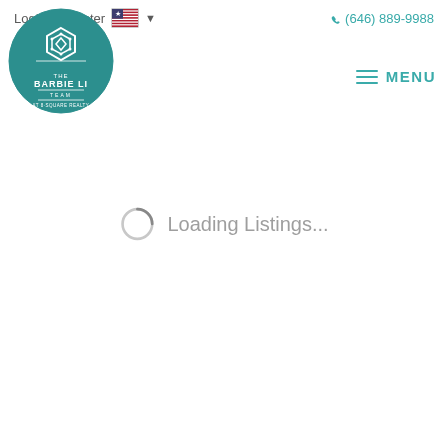Login / Register  🇺🇸 ▾  (646) 889-9988
[Figure (logo): The Barbie Li Team at 8-Square Realty circular teal logo with geometric 8-square diamond icon]
≡ MENU
Loading Listings...